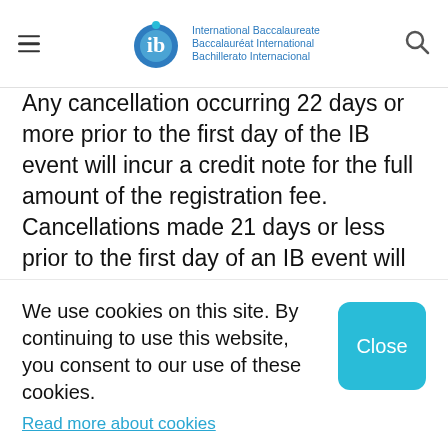International Baccalaureate Baccalauréat International Bachillerato Internacional
Any cancellation occurring 22 days or more prior to the first day of the IB event will incur a credit note for the full amount of the registration fee. Cancellations made 21 days or less prior to the first day of an IB event will incur a penalty of 100% of the registration fee.
We use cookies on this site. By continuing to use this website, you consent to our use of these cookies.
Read more about cookies